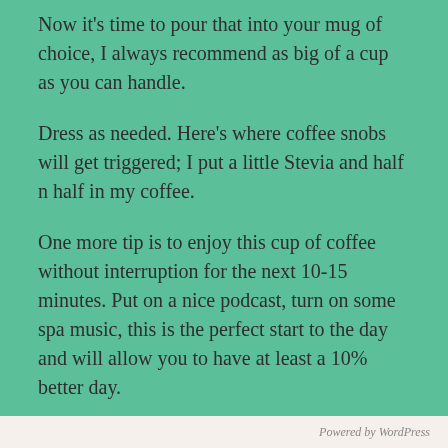Now it's time to pour that into your mug of choice, I always recommend as big of a cup as you can handle.
Dress as needed. Here's where coffee snobs will get triggered; I put a little Stevia and half n half in my coffee.
One more tip is to enjoy this cup of coffee without interruption for the next 10-15 minutes. Put on a nice podcast, turn on some spa music, this is the perfect start to the day and will allow you to have at least a 10% better day.
Posted in Health, Motivation, Recipes, Reviews
Powered by WordPress